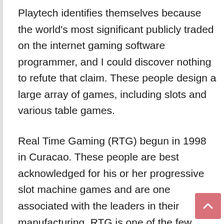Playtech identifies themselves because the world's most significant publicly traded on the internet gaming software programmer, and I could discover nothing to refute that claim. These people design a large array of games, including slots and various table games.
Real Time Gaming (RTG) begun in 1998 in Curacao. These people are best acknowledged for his or her progressive slot machine games and are one associated with the leaders in their manufacturing. RTG is one of the few online online game designers not to be able to develop their unique plan regarding American buyers subsequent to the United States Congress passing with the Unlawful Internet Betting Enforcement Act in 2006. Instead, they